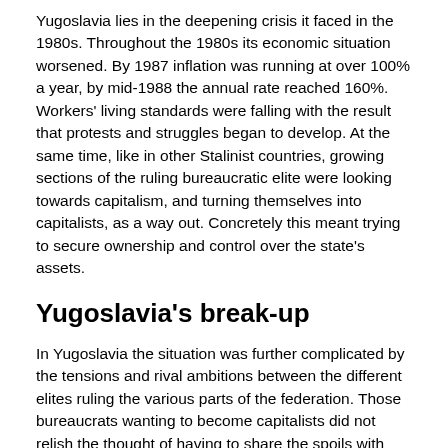Yugoslavia lies in the deepening crisis it faced in the 1980s. Throughout the 1980s its economic situation worsened. By 1987 inflation was running at over 100% a year, by mid-1988 the annual rate reached 160%. Workers' living standards were falling with the result that protests and struggles began to develop. At the same time, like in other Stalinist countries, growing sections of the ruling bureaucratic elite were looking towards capitalism, and turning themselves into capitalists, as a way out. Concretely this meant trying to secure ownership and control over the state's assets.
Yugoslavia's break-up
In Yugoslavia the situation was further complicated by the tensions and rival ambitions between the different elites ruling the various parts of the federation. Those bureaucrats wanting to become capitalists did not relish the thought of having to share the spoils with rivals from different republics. They moved to divert in a nationalist direction the developing protests both to prevent being challenged by a united